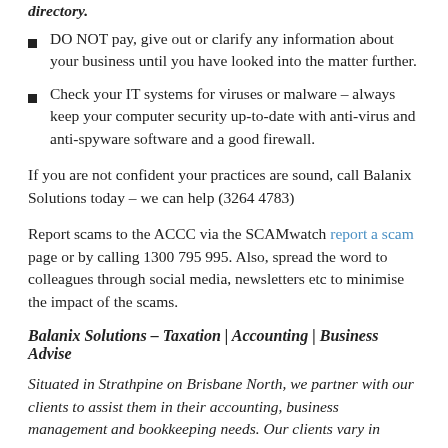DO NOT pay, give out or clarify any information about your business until you have looked into the matter further.
Check your IT systems for viruses or malware – always keep your computer security up-to-date with anti-virus and anti-spyware software and a good firewall.
If you are not confident your practices are sound, call Balanix Solutions today – we can help (3264 4783)
Report scams to the ACCC via the SCAMwatch report a scam page or by calling 1300 795 995. Also, spread the word to colleagues through social media, newsletters etc to minimise the impact of the scams.
Balanix Solutions – Taxation | Accounting | Business Advise
Situated in Strathpine on Brisbane North, we partner with our clients to assist them in their accounting, business management and bookkeeping needs. Our clients vary in